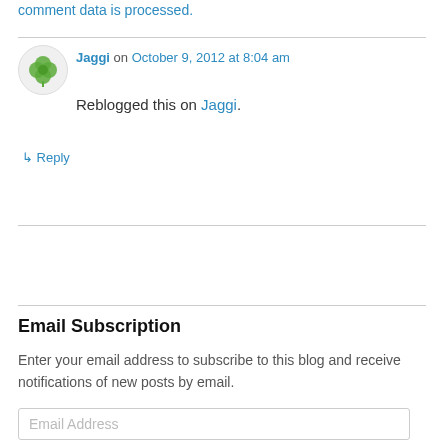comment data is processed.
Jaggi on October 9, 2012 at 8:04 am
Reblogged this on Jaggi.
↳ Reply
[Figure (other): Follow Greg Canty Fuzion Blog button with WordPress icon]
Email Subscription
Enter your email address to subscribe to this blog and receive notifications of new posts by email.
Email Address